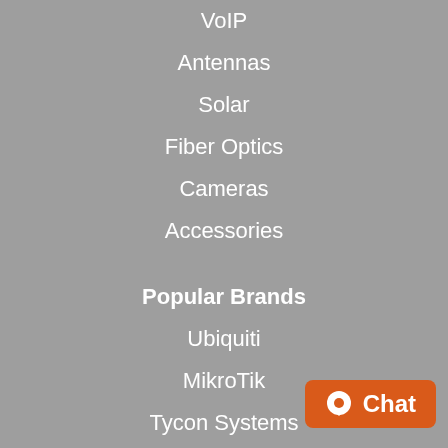VoIP
Antennas
Solar
Fiber Optics
Cameras
Accessories
Popular Brands
Ubiquiti
MikroTik
Tycon Systems
OFP
Cisco
Cambium Networks
Grandstream
[Figure (other): Orange chat button with speech bubble icon and 'Chat' text]